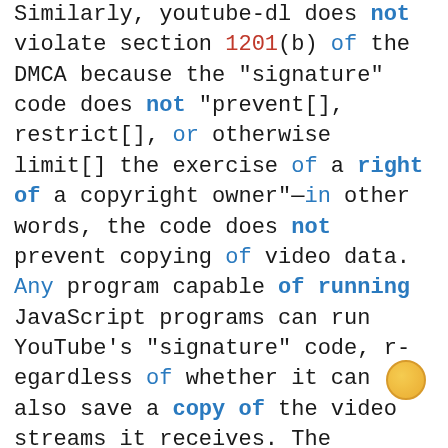Similarly, youtube-dl does not violate section 1201(b) of the DMCA because the "signature" code does not "prevent[], restrict[], or otherwise limit[] the exercise of a right of a copyright owner"—in other words, the code does not prevent copying of video data. Any program capable of running JavaScript programs can run YouTube's "signature" code, regardless of whether it can also save a copy of the video streams it receives. The YouTube code is entirely different from the CSS encryption used on DVD discs and described in Universal City Studios, Inc. v. Corley, 273 F. 3d 429 (2d Cir. 2001), or from the Widevine DRM owned and used by YouTube's parent company Google. Although I express no opinion here about how the DMCA might